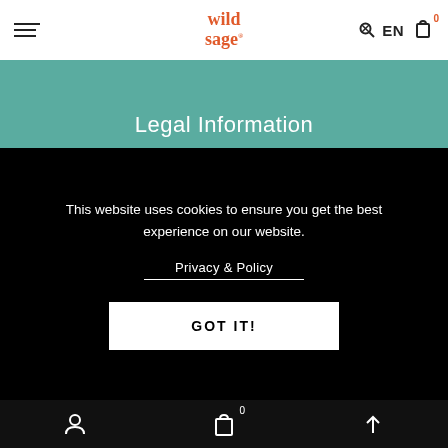wild sage — EN 0
Legal Information
This website uses cookies to ensure you get the best experience on our website.
Privacy & Policy
GOT IT!
© Copyright Wild Sage Foods 2022
0